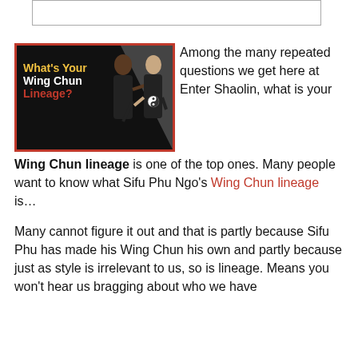[Figure (photo): Video thumbnail image bordered in red/orange showing two people in black hoodies discussing Wing Chun lineage, with yellow, white and red bold text reading 'What's Your Wing Chun Lineage?' on a dark background with a triangular graphic element]
Among the many repeated questions we get here at Enter Shaolin, what is your Wing Chun lineage is one of the top ones. Many people want to know what Sifu Phu Ngo's Wing Chun lineage is…
Many cannot figure it out and that is partly because Sifu Phu has made his Wing Chun his own and partly because just as style is irrelevant to us, so is lineage. Means you won't hear us bragging about who we have